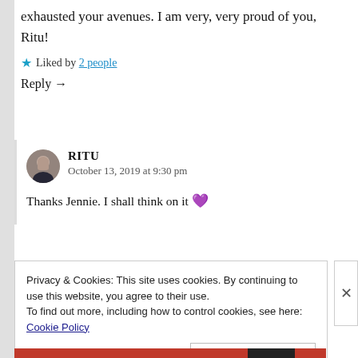exhausted your avenues. I am very, very proud of you, Ritu!
★ Liked by 2 people
Reply →
RITU
October 13, 2019 at 9:30 pm
Thanks Jennie. I shall think on it 💜
Privacy & Cookies: This site uses cookies. By continuing to use this website, you agree to their use.
To find out more, including how to control cookies, see here: Cookie Policy
Close and accept